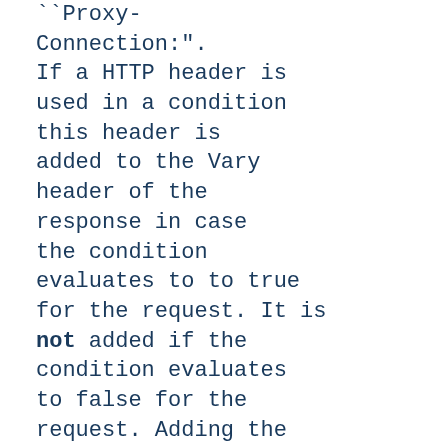HTTP header ``Proxy-Connection:". If a HTTP header is used in a condition this header is added to the Vary header of the response in case the condition evaluates to to true for the request. It is not added if the condition evaluates to false for the request. Adding the HTTP header to the Vary header of the response is needed for proper caching.

It has to be kept in mind that conditions follow a shortcircuit principle...